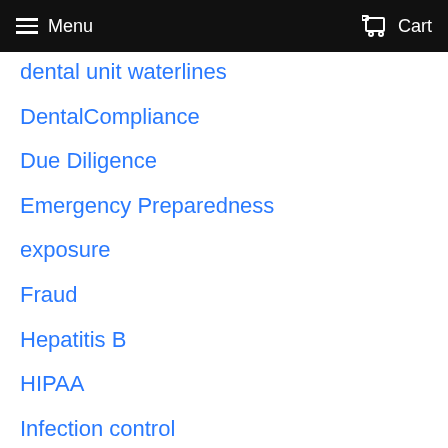Menu   Cart
dental unit waterlines
DentalCompliance
Due Diligence
Emergency Preparedness
exposure
Fraud
Hepatitis B
HIPAA
Infection control
mask
medicaid
Medical Emergency
needlestick
Nitrous
No Surprises Act